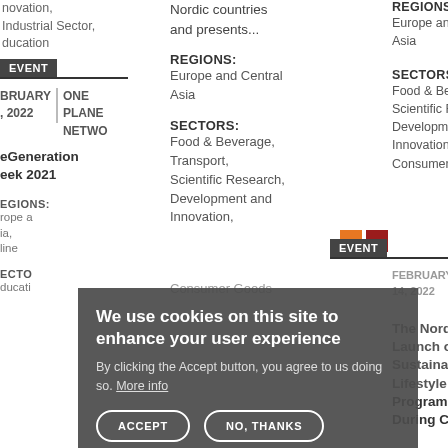novation, Industrial Sector, ducation
EVENT
BRUARY, 2022 | ONE PLANE NETWO
eGeneration eek 2021
EGIONS: rope a ia, line
ECTO ducati
Nordic countries and presents...
REGIONS: Europe and Central Asia
SECTORS: Food & Beverage, Transport, Scientific Research, Development and Innovation, Consumer Goods
REGIONS: Europe and Central Asia
SECTORS: Food & Beverage, Scientific Research, Development and Innovation, Consumer Goods
EVENT
FEBRUARY 14, 2022 | ONE PLANE NETWO
The Nordic Launch of Sustainable Lifestyle Programme During COP 26
We use cookies on this site to enhance your user experience
By clicking the Accept button, you agree to us doing so. More info
ACCEPT
NO, THANKS